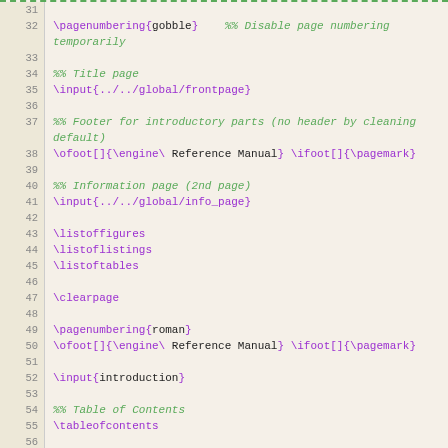[Figure (screenshot): Code editor screenshot showing LaTeX source file lines 31-61 with line numbers, purple LaTeX commands, and green italic comments on a beige background]